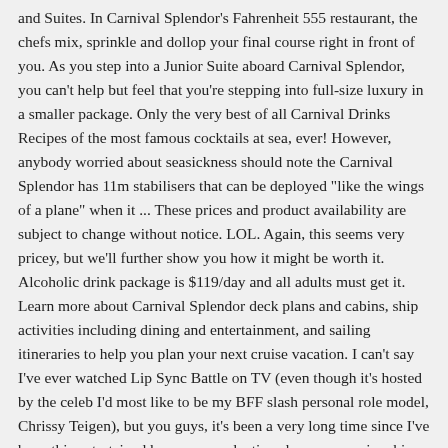and Suites. In Carnival Splendor's Fahrenheit 555 restaurant, the chefs mix, sprinkle and dollop your final course right in front of you. As you step into a Junior Suite aboard Carnival Splendor, you can't help but feel that you're stepping into full-size luxury in a smaller package. Only the very best of all Carnival Drinks Recipes of the most famous cocktails at sea, ever! However, anybody worried about seasickness should note the Carnival Splendor has 11m stabilisers that can be deployed "like the wings of a plane" when it ... These prices and product availability are subject to change without notice. LOL. Again, this seems very pricey, but we'll further show you how it might be worth it. Alcoholic drink package is $119/day and all adults must get it. Learn more about Carnival Splendor deck plans and cabins, ship activities including dining and entertainment, and sailing itineraries to help you plan your next cruise vacation. I can't say I've ever watched Lip Sync Battle on TV (even though it's hosted by the celeb I'd most like to be my BFF slash personal role model, Chrissy Teigen), but you guys, it's been a very long time since I've been this entertained by a non-production show on a cruise ship. package worth it for you? Of course when we called Carnival to ask, they only gave us a price range. You're not alone. Carnival also reserves the right to implement price adjustments - either up or down - on the day of sailing, which will replace any